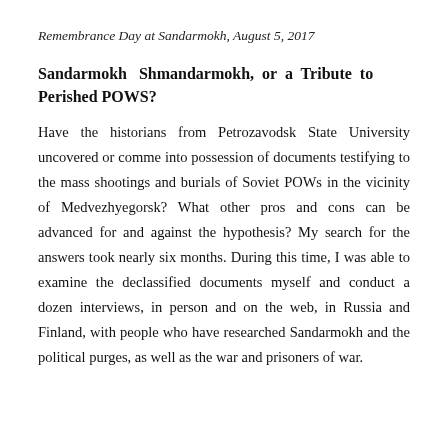Remembrance Day at Sandarmokh, August 5, 2017
Sandarmokh Shmandarmokh, or a Tribute to Perished POWS?
Have the historians from Petrozavodsk State University uncovered or comme into possession of documents testifying to the mass shootings and burials of Soviet POWs in the vicinity of Medvezhyegorsk? What other pros and cons can be advanced for and against the hypothesis? My search for the answers took nearly six months. During this time, I was able to examine the declassified documents myself and conduct a dozen interviews, in person and on the web, in Russia and Finland, with people who have researched Sandarmokh and the political purges, as well as the war and prisoners of war.